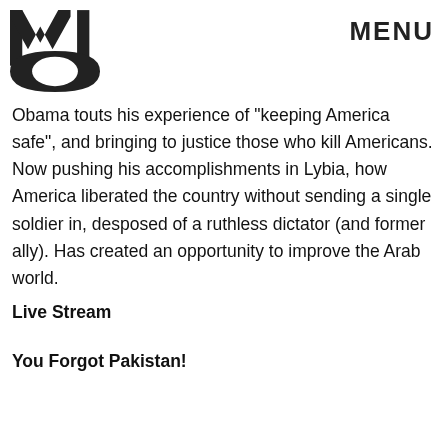MIC  MENU
Obama touts his experience of "keeping America safe", and bringing to justice those who kill Americans. Now pushing his accomplishments in Lybia, how America liberated the country without sending a single soldier in, desposed of a ruthless dictator (and former ally). Has created an opportunity to improve the Arab world.
Live Stream
You Forgot Pakistan!